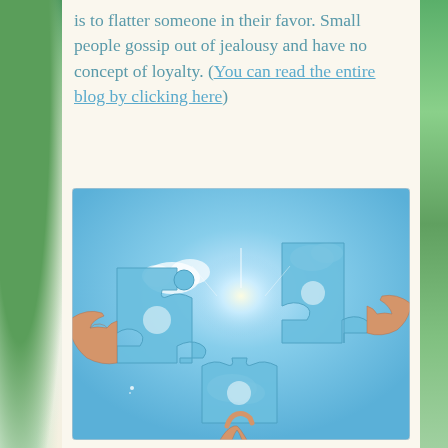is to flatter someone in their favor. Small people gossip out of jealousy and have no concept of loyalty. (You can read the entire blog by clicking here)
[Figure (photo): Three hands holding blue puzzle pieces against a bright blue sky with clouds, bringing the pieces together to complete a puzzle.]